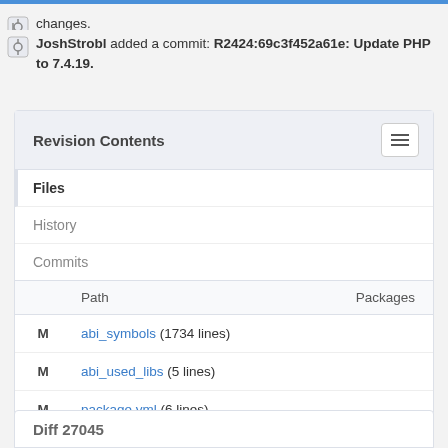changes.
JoshStrobl added a commit: R2424:69c3f452a61e: Update PHP to 7.4.19.
Revision Contents
Files
History
Commits
|  | Path | Packages |
| --- | --- | --- |
| M | abi_symbols (1734 lines) |  |
| M | abi_used_libs (5 lines) |  |
| M | package.yml (6 lines) |  |
| M | pspec_x86_64.xml (8 lines) |  |
Diff 27045